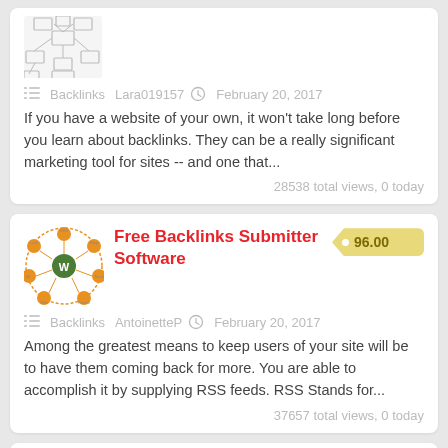[Figure (illustration): Partial view of a backlinks network diagram (top of page, clipped)]
Backlinks   Lara019157   February 20, 2017
If you have a website of your own, it won't take long before you learn about backlinks. They can be a really significant marketing tool for sites -- and one that...
28538 total views, 0 today
[Figure (illustration): Circular network/hub diagram with orange nodes and WordPress logo in center]
Free Backlinks Submitter Software
96.00
Backlinks   AntoinetteP   February 20, 2017
Among the greatest means to keep users of your site will be to have them coming back for more. You are able to accomplish it by supplying RSS feeds. RSS Stands for...
37657 total views, 0 today
[Figure (illustration): Colorful domain extension labels (edu, net, com, int) stacked]
How To Create Backlinks To Your Site For Free
164.00